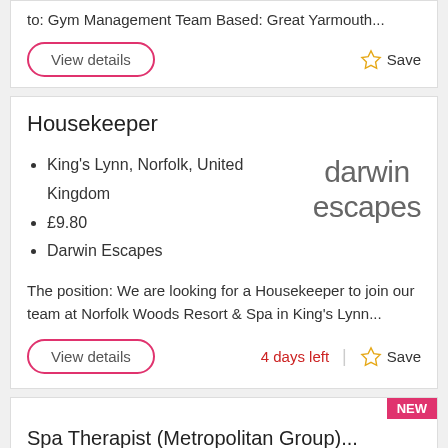to: Gym Management Team Based: Great Yarmouth...
View details
Save
Housekeeper
King's Lynn, Norfolk, United Kingdom
£9.80
Darwin Escapes
[Figure (logo): Darwin Escapes logo in grey lowercase text]
The position: We are looking for a Housekeeper to join our team at Norfolk Woods Resort & Spa in King's Lynn...
View details
4 days left
Save
NEW